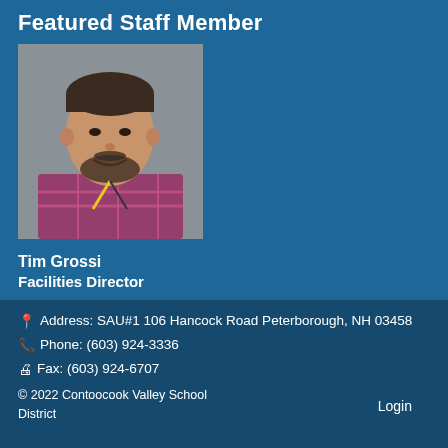Featured Staff Member
[Figure (photo): Headshot of Tim Grossi, a middle-aged man with dark hair and a beard, wearing a plaid shirt and a lanyard, smiling against a grey background.]
Tim Grossi
Facilities Director
Address: SAU#1 106 Hancock Road Peterborough, NH 03458
Phone: (603) 924-3336
Fax: (603) 924-6707
© 2022 Contoocook Valley School District    Login